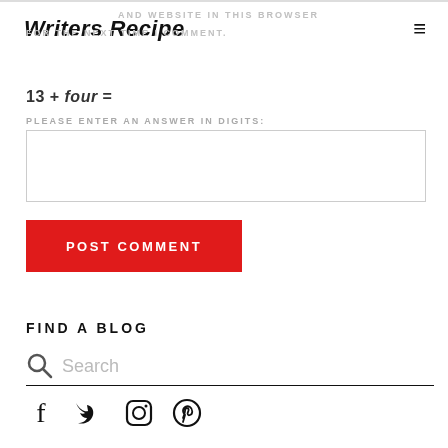Writers Recipe
AND WEBSITE IN THIS BROWSER FOR THE NEXT TIME I COMMENT.
PLEASE ENTER AN ANSWER IN DIGITS:
POST COMMENT
FIND A BLOG
Search
[Figure (other): Social media icons: Facebook, Twitter, Instagram, Pinterest]